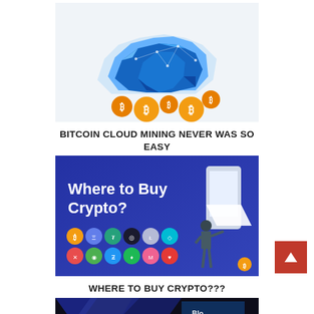[Figure (illustration): Cloud mining illustration: a blue geometric low-poly cloud with network nodes and lines, with several orange Bitcoin coin icons hanging below it on a white/light grey background.]
BITCOIN CLOUD MINING NEVER WAS SO EASY
[Figure (infographic): Blue promotional banner reading 'Where to Buy Crypto?' with cryptocurrency coin logos (Bitcoin, Ethereum, XRP, Litecoin, etc.) and an isometric illustration of a businessman at an ATM/kiosk machine on the right.]
WHERE TO BUY CRYPTO???
[Figure (illustration): Partially visible banner image at the bottom of the page, appears to show a cryptocurrency-related graphic with dark triangular shapes and a partial logo.]